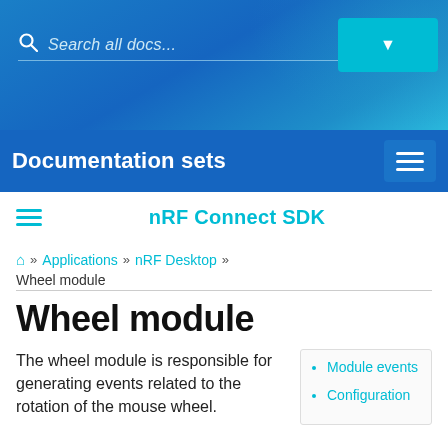Search all docs...
Documentation sets
nRF Connect SDK
🏠 » Applications » nRF Desktop » Wheel module
Wheel module
The wheel module is responsible for generating events related to the rotation of the mouse wheel.
Module events
Configuration